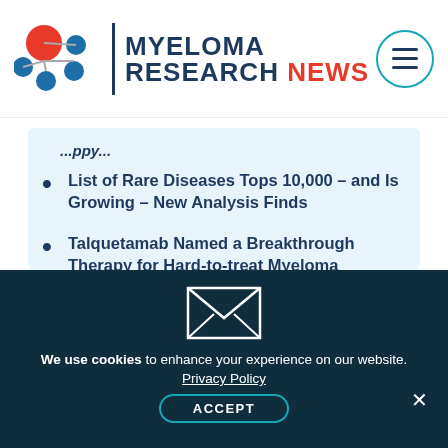MYELOMA RESEARCH NEWS
List of Rare Diseases Tops 10,000 – and Is Growing – New Analysis Finds
Talquetamab Named a Breakthrough Therapy for Hard-to-treat Myeloma
[Figure (illustration): Envelope/email icon in white outline on dark teal background]
We use cookies to enhance your experience on our website.
Privacy Policy
ACCEPT